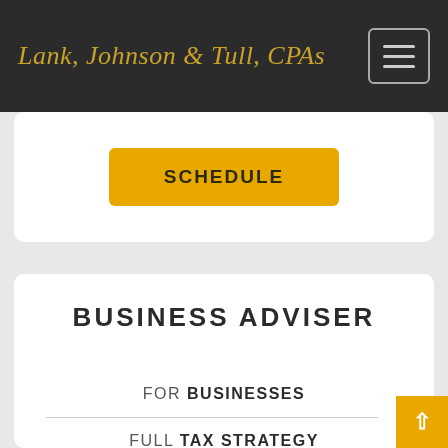Lank, Johnson & Tull, CPAs
[Figure (screenshot): Yellow SCHEDULE button on white card]
BUSINESS ADVISER
FOR BUSINESSES
FULL TAX STRATEGY
FINANCIAL STATEMENTS